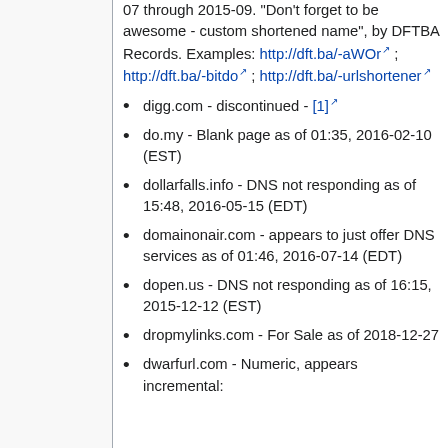07 through 2015-09. "Don't forget to be awesome - custom shortened name", by DFTBA Records. Examples: http://dft.ba/-aWOr ; http://dft.ba/-bitdo ; http://dft.ba/-urlshortener
digg.com - discontinued - [1]
do.my - Blank page as of 01:35, 2016-02-10 (EST)
dollarfalls.info - DNS not responding as of 15:48, 2016-05-15 (EDT)
domainonair.com - appears to just offer DNS services as of 01:46, 2016-07-14 (EDT)
dopen.us - DNS not responding as of 16:15, 2015-12-12 (EST)
dropmylinks.com - For Sale as of 2018-12-27
dwarfurl.com - Numeric, appears incremental: